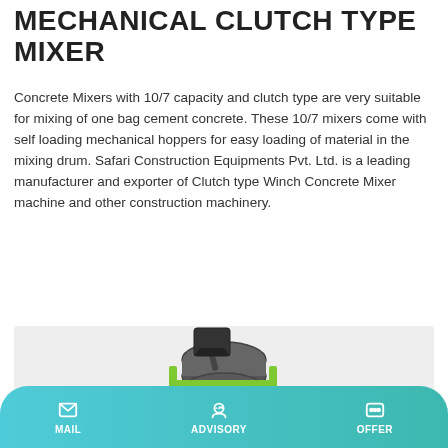MECHANICAL CLUTCH TYPE MIXER
Concrete Mixers with 10/7 capacity and clutch type are very suitable for mixing of one bag cement concrete. These 10/7 mixers come with self loading mechanical hoppers for easy loading of material in the mixing drum. Safari Construction Equipments Pvt. Ltd. is a leading manufacturer and exporter of Clutch type Winch Concrete Mixer machine and other construction machinery.
Learn More
[Figure (photo): Mechanical clutch type concrete mixer machine with green frame, black drum and hopper attachment, shown on a light grey background.]
MAIL  ADVISORY  OFFER